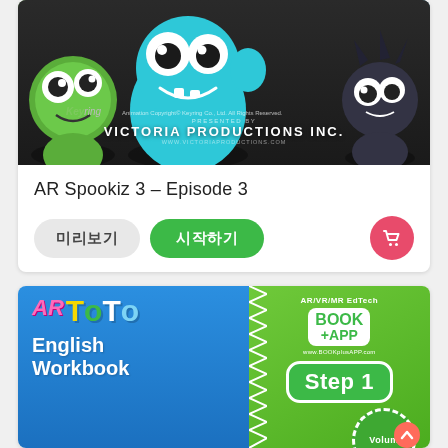[Figure (screenshot): AR Spookiz 3 animation screenshot with cartoon monsters. Three characters visible: green bug-eyed character on left, large blue monster in center, dark spiky character on right. Victoria Productions Inc. branding visible.]
AR Spookiz 3 – Episode 3
미리보기 (Preview button) | 시작하기 (Start button) | cart icon button
[Figure (screenshot): AR TotoEnglish Workbook product image. Left blue panel shows AR ToTo logo in colorful letters and 'English Workbook' text in white. Right green panel shows BOOK+APP logo with AR/VR/MR EdTech label, www.BOOKplusAPP.com, Step 1 badge, and partially visible Volume circle.]